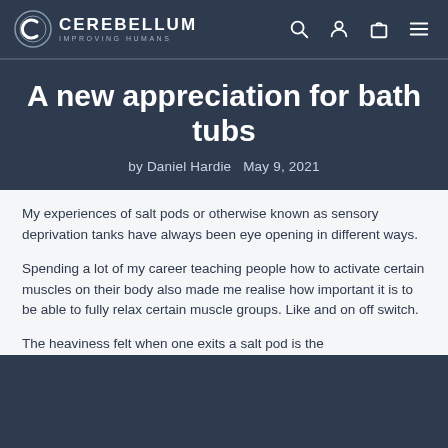CEREBELLUM IMPROVING HUMANS
A new appreciation for bath tubs
by Daniel Hardie   May 9, 2021
My experiences of salt pods or otherwise known as sensory deprivation tanks have always been eye opening in different ways.
Spending a lot of my career teaching people how to activate certain muscles on their body also made me realise how important it is to be able to fully relax certain muscle groups. Like and on off switch.
The heaviness felt when one exits a salt pod is the